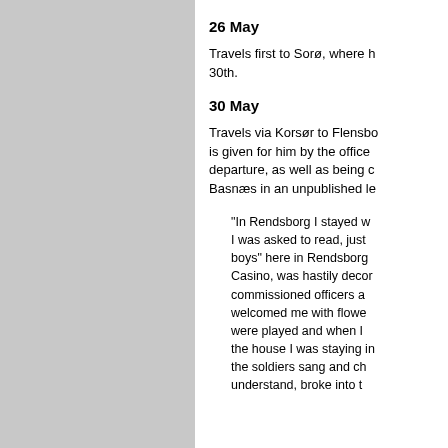[Figure (photo): Large gray rectangle occupying the left half of the page, representing an image placeholder or photograph.]
26 May
Travels first to Sorø, where he arrives on the 30th.
30 May
Travels via Korsør to Flensborg. A dinner is given for him by the officers before his departure, as well as being described from Basnæs in an unpublished le
"In Rendsborg I stayed w... I was asked to read, just ... boys" here in Rendsborg ... Casino, was hastily decor... commissioned officers a... welcomed me with flowe... were played and when I ... the house I was staying in... the soldiers sang and ch... understand, broke into t...